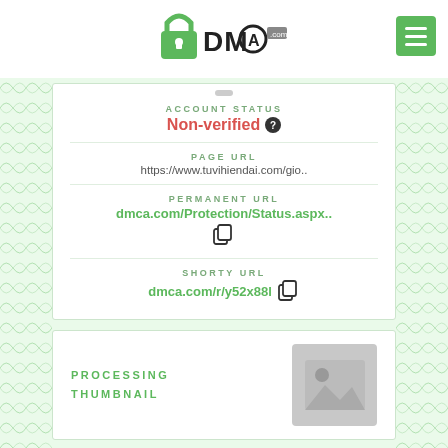[Figure (logo): DMCA.com logo with padlock icon]
ACCOUNT STATUS
Non-verified ?
PAGE URL
https://www.tuvihiendai.com/gio..
PERMANENT URL
dmca.com/Protection/Status.aspx..
SHORTY URL
dmca.com/r/y52x88l
PROCESSING THUMBNAIL